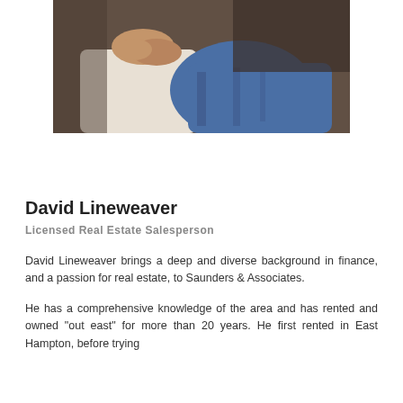[Figure (photo): Partial photo of a person sitting, showing hands resting on lap and crossed legs in jeans, with a white cushioned seat and dark furry background]
David Lineweaver
Licensed Real Estate Salesperson
David Lineweaver brings a deep and diverse background in finance, and a passion for real estate, to Saunders & Associates.
He has a comprehensive knowledge of the area and has rented and owned "out east" for more than 20 years. He first rented in East Hampton, before trying